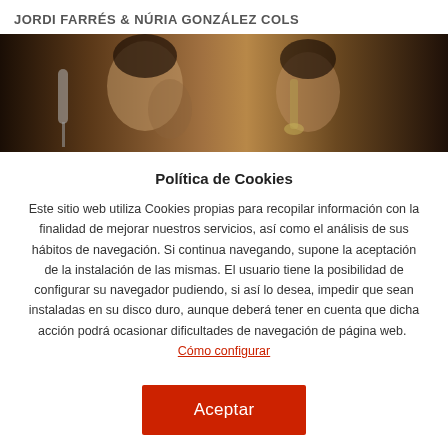JORDI FARRÉS & NÚRIA GONZÁLEZ COLS
[Figure (photo): Band photo showing two musicians playing instruments (violin/wind instruments) on a dark stage]
Política de Cookies
Este sitio web utiliza Cookies propias para recopilar información con la finalidad de mejorar nuestros servicios, así como el análisis de sus hábitos de navegación. Si continua navegando, supone la aceptación de la instalación de las mismas. El usuario tiene la posibilidad de configurar su navegador pudiendo, si así lo desea, impedir que sean instaladas en su disco duro, aunque deberá tener en cuenta que dicha acción podrá ocasionar dificultades de navegación de página web.  Cómo configurar
Aceptar